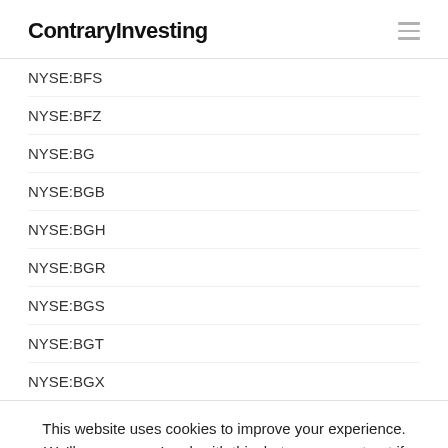ContraryInvesting
NYSE:BFS
NYSE:BFZ
NYSE:BG
NYSE:BGB
NYSE:BGH
NYSE:BGR
NYSE:BGS
NYSE:BGT
NYSE:BGX
This website uses cookies to improve your experience. We'll assume you're ok with this, but you can opt-out if you wish. Cookie settings ACCEPT